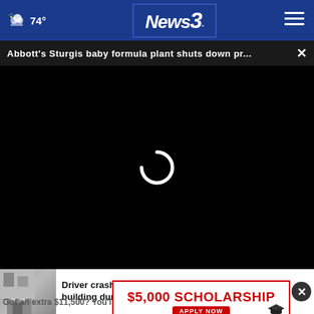74° News3 (navigation header with weather and logo)
Abbott's Sturgis baby formula plant shuts down pr...
[Figure (screenshot): Black video player area with a white loading spinner in the center]
Driver crashes into Opelika H... building dur...
$5,000 SCHOLARSHIP APPLY NOW
Got an extra $11,500? You'll need it to